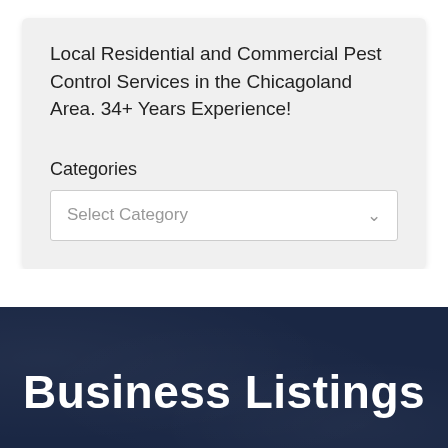Local Residential and Commercial Pest Control Services in the Chicagoland Area. 34+ Years Experience!
Categories
[Figure (screenshot): A dropdown select box labeled 'Select Category' with a chevron arrow on the right]
Business Listings